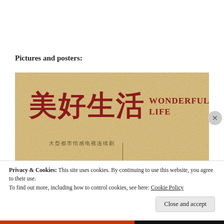Pictures and posters:
[Figure (illustration): Movie/TV show poster for '美好生活' (Wonderful Life) — a Chinese TV drama. Sandy/golden textured background with large dark red Chinese characters '美好生活' and English subtitle 'WONDERFUL LIFE'. Below the title is the subtitle text '大型都市情感电视连续剧' (Large-scale urban emotional TV series). A thin vertical dark line appears at the bottom center.]
Privacy & Cookies: This site uses cookies. By continuing to use this website, you agree to their use.
To find out more, including how to control cookies, see here: Cookie Policy
Close and accept